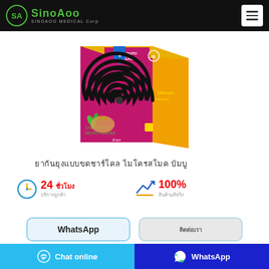SinoAoo SINOAOO MEDICAL Corp
[Figure (photo): Mosquito coil product box packaging — pink/magenta and yellow/orange box with black spiral coil graphic, labeled 'MOSQUITO COIL', '12 hours effective', 'char-bamboo micro-smoke']
Thai product title text (transliterated from Thai script)
24 (Thai word) / (Thai word) | 100% / (Thai word)
WhatsApp | (Thai contact button)
Chat online | WhatsApp